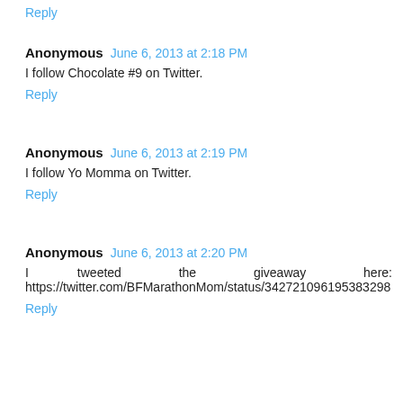Reply
Anonymous  June 6, 2013 at 2:18 PM
I follow Chocolate #9 on Twitter.
Reply
Anonymous  June 6, 2013 at 2:19 PM
I follow Yo Momma on Twitter.
Reply
Anonymous  June 6, 2013 at 2:20 PM
I tweeted the giveaway here: https://twitter.com/BFMarathonMom/status/342721096195383298
Reply